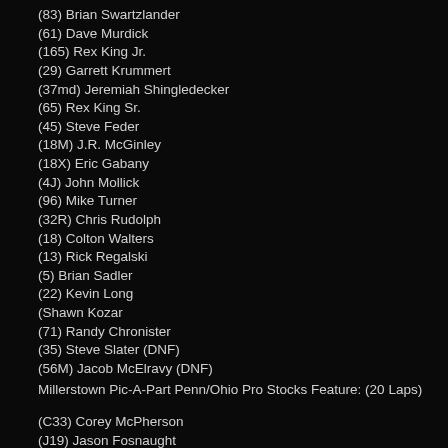(83) Brian Swartzlander
(61) Dave Murdick
(165) Rex King Jr.
(29) Garrett Krummert
(37md) Jeremiah Shingledecker
(65) Rex King Sr.
(45) Steve Feder
(18M) J.R. McGinley
(18X) Eric Gabany
(4J) John Mollick
(96) Mike Turner
(32R) Chris Rudolph
(18) Colton Walters
(13) Rick Regalski
(5) Brian Sadler
(22) Kevin Long
(Shawn Kozar
(71) Randy Chronister
(35) Steve Slater (DNF)
(56M) Jacob McElravy (DNF)
Millerstown Pic-A-Part Penn/Ohio Pro Stocks Feature: (20 Laps)
(C33) Corey McPherson
(J19) Jason Fosnaught
(948) Joey Zambotti